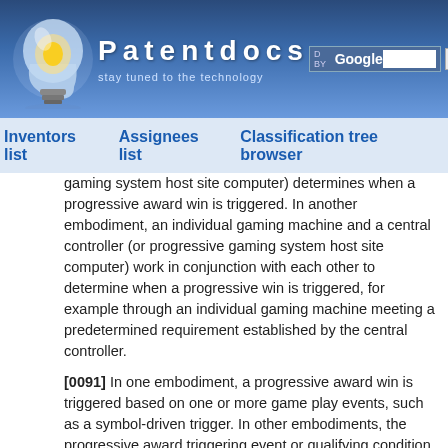[Figure (screenshot): Patentdocs website header with lightbulb logo, site title 'Patentdocs', tagline 'stay tuned to the technology', Google search box and Search button]
Inventors list   Assignees list   Classification tree browser
gaming system host site computer) determines when a progressive award win is triggered. In another embodiment, an individual gaming machine and a central controller (or progressive gaming system host site computer) work in conjunction with each other to determine when a progressive win is triggered, for example through an individual gaming machine meeting a predetermined requirement established by the central controller.
[0091] In one embodiment, a progressive award win is triggered based on one or more game play events, such as a symbol-driven trigger. In other embodiments, the progressive award triggering event or qualifying condition may be achieved by exceeding a certain amount of game play (such as number of games, number of credits, or amount of time), or reaching a specified number of points earned during game play. In another embodiment, a gaming device is randomly or apparently randomly selected to provide a player of that gaming device one or more progressive awards. In